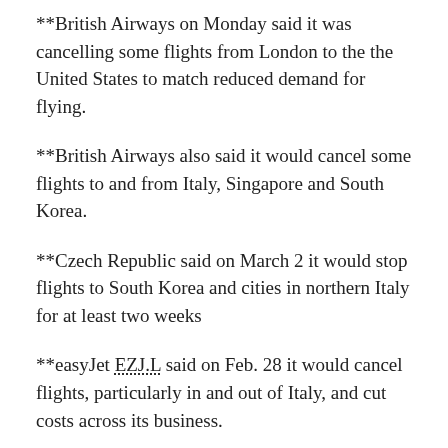**British Airways on Monday said it was cancelling some flights from London to the the United States to match reduced demand for flying.
**British Airways also said it would cancel some flights to and from Italy, Singapore and South Korea.
**Czech Republic said on March 2 it would stop flights to South Korea and cities in northern Italy for at least two weeks
**easyJet EZJ.L said on Feb. 28 it would cancel flights, particularly in and out of Italy, and cut costs across its business.
**El Al Israel Airlines ELAL.TA said it would suspend